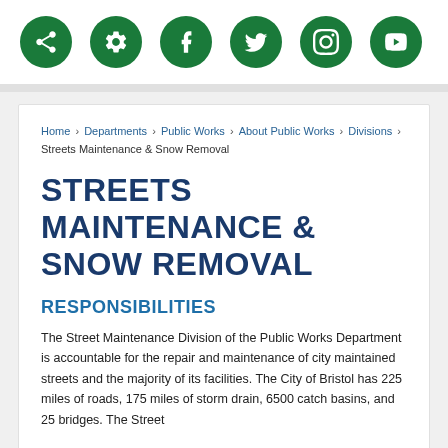[Figure (other): Row of six green circular social media / share icons: share, settings, Facebook, Twitter, Instagram, YouTube]
Home › Departments › Public Works › About Public Works › Divisions › Streets Maintenance & Snow Removal
STREETS MAINTENANCE & SNOW REMOVAL
RESPONSIBILITIES
The Street Maintenance Division of the Public Works Department is accountable for the repair and maintenance of city maintained streets and the majority of its facilities. The City of Bristol has 225 miles of roads, 175 miles of storm drain, 6500 catch basins, and 25 bridges. The Street